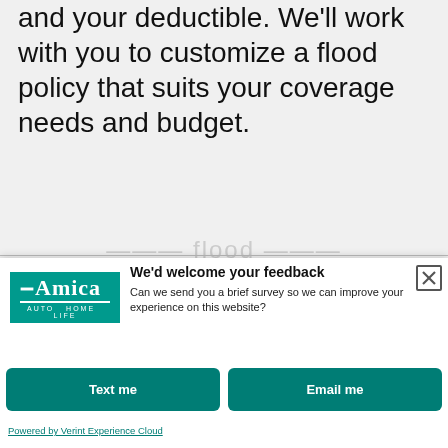and your deductible. We'll work with you to customize a flood policy that suits your coverage needs and budget.
[Figure (screenshot): Amica insurance website page background with partially visible section heading text]
[Figure (other): Amica Mutual Insurance logo with teal background, Auto Home Life tagline]
We'd welcome your feedback
Can we send you a brief survey so we can improve your experience on this website?
Text me
Email me
Powered by Verint Experience Cloud